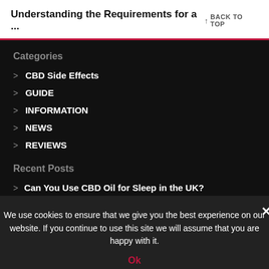Understanding the Requirements for a... ↑ BACK TO TOP
Categories
CBD Side Effects
GUIDE
INFORMATION
NEWS
REVIEWS
Recent Posts
Can You Use CBD Oil for Sleep in the UK?
Are More People Using CBD In Lockdown? (2021 Update)
We use cookies to ensure that we give you the best experience on our website. If you continue to use this site we will assume that you are happy with it.
Ok